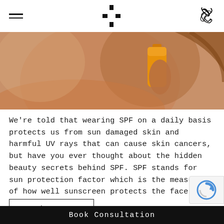[hamburger menu] [logo] [phone icon]
[Figure (photo): Woman holding an orange sunscreen bottle, warm toned skin, beach/sunny setting, close-up torso and hand shot]
We're told that wearing SPF on a daily basis protects us from sun damaged skin and harmful UV rays that can cause skin cancers, but have you ever thought about the hidden beauty secrets behind SPF. SPF stands for sun protection factor which is the measure of how well sunscreen protects the face and skin [...]
Read More...
Posted in Uncategorised
Book Consultation